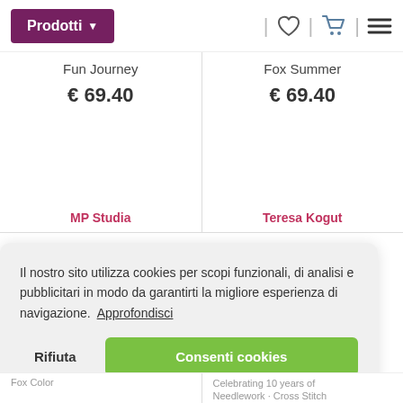Prodotti
Fun Journey
€ 69.40
MP Studia
Fox Summer
€ 69.40
Teresa Kogut
Il nostro sito utilizza cookies per scopi funzionali, di analisi e pubblicitari in modo da garantirti la migliore esperienza di navigazione.  Approfondisci
Rifiuta
Consenti cookies
Fox Color
Celebrating 10 years of Needlework · Cross Stitch